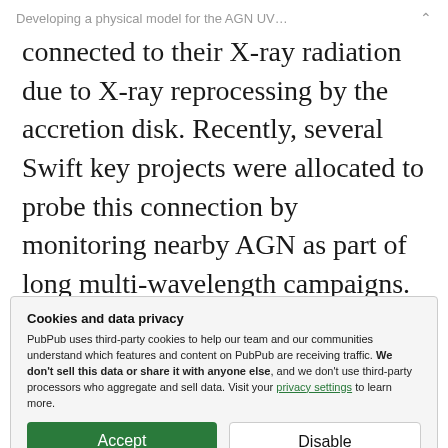Developing a physical model for the AGN UV…
connected to their X-ray radiation due to X-ray reprocessing by the accretion disk. Recently, several Swift key projects were allocated to probe this connection by monitoring nearby AGN as part of long multi-wavelength campaigns. The results of these studies pointed at a discrepancy between observations and the underlying
Cookies and data privacy
PubPub uses third-party cookies to help our team and our communities understand which features and content on PubPub are receiving traffic. We don't sell this data or share it with anyone else, and we don't use third-party processors who aggregate and sell data. Visit your privacy settings to learn more.
theory. In order to further examine the